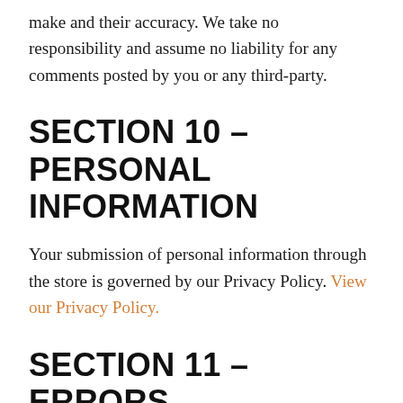make and their accuracy. We take no responsibility and assume no liability for any comments posted by you or any third-party.
SECTION 10 – PERSONAL INFORMATION
Your submission of personal information through the store is governed by our Privacy Policy. View our Privacy Policy.
SECTION 11 – ERRORS, INACCURACIES AND